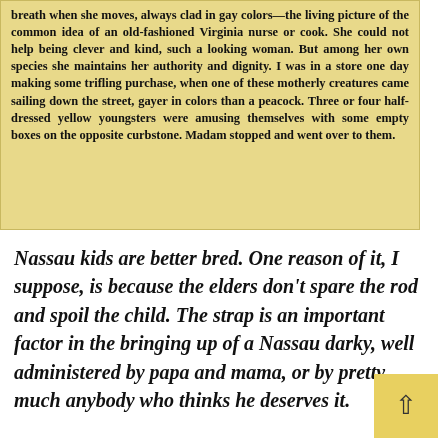[Figure (photo): Scanned newspaper clipping on yellowed paper with bold serif text describing a scene of a large Black woman coming down the street in colorful clothes, with half-dressed yellow youngsters playing with empty boxes on the curbstone.]
Nassau kids are better bred. One reason of it, I suppose, is because the elders don't spare the rod and spoil the child. The strap is an important factor in the bringing up of a Nassau darky, well administered by papa and mama, or by pretty much anybody who thinks he deserves it.